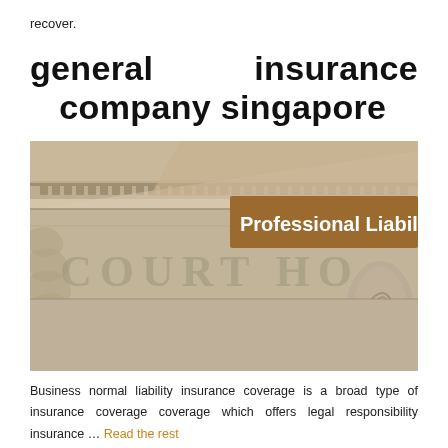recover.
general insurance company singapore
[Figure (photo): Photograph of a courthouse facade with columns and carved lettering reading COURT HO[USE], overlaid with a brown banner reading 'Professional Liability']
Business normal liability insurance coverage is a broad type of insurance coverage coverage which offers legal responsibility insurance ... Read the rest